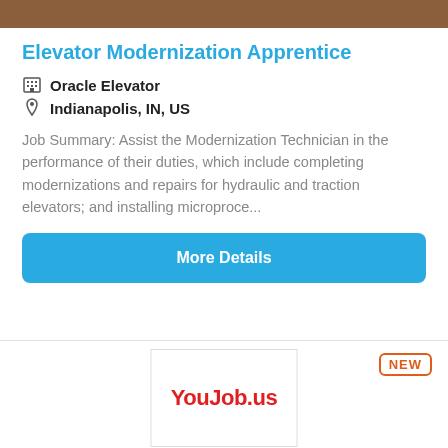[Figure (photo): Brown/tan image bar at top of card]
Elevator Modernization Apprentice
Oracle Elevator
Indianapolis, IN, US
Job Summary: Assist the Modernization Technician in the performance of their duties, which include completing modernizations and repairs for hydraulic and traction elevators; and installing microproce...
More Details
NEW
[Figure (logo): YouJob.us logo on white card background]